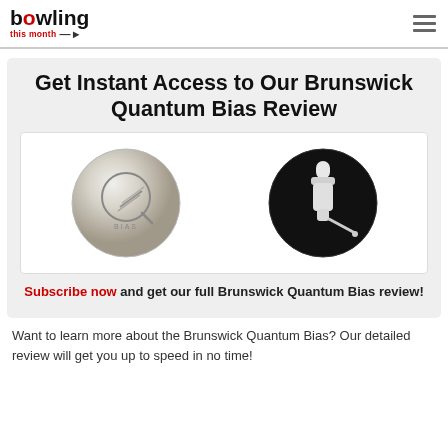bowling this month
Get Instant Access to Our Brunswick Quantum Bias Review
[Figure (photo): Two circular images side by side: left shows a silver Brunswick Quantum Bias bowling ball with a Q and 'BIAS' logo; right shows a black background with a white bowling pin-shaped core/weight block component.]
Subscribe now and get our full Brunswick Quantum Bias review!
Want to learn more about the Brunswick Quantum Bias? Our detailed review will get you up to speed in no time!